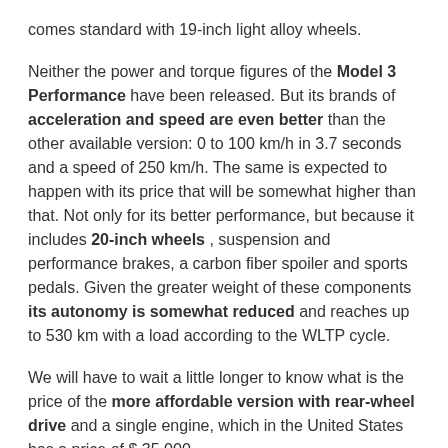comes standard with 19-inch light alloy wheels.
Neither the power and torque figures of the Model 3 Performance have been released. But its brands of acceleration and speed are even better than the other available version: 0 to 100 km/h in 3.7 seconds and a speed of 250 km/h. The same is expected to happen with its price that will be somewhat higher than that. Not only for its better performance, but because it includes 20-inch wheels , suspension and performance brakes, a carbon fiber spoiler and sports pedals. Given the greater weight of these components its autonomy is somewhat reduced and reaches up to 530 km with a load according to the WLTP cycle.
We will have to wait a little longer to know what is the price of the more affordable version with rear-wheel drive and a single engine, which in the United States has a price of $ 35,000.
You may be interested
20.02.2020        Author: www.countrysideauto-austin.com Views: